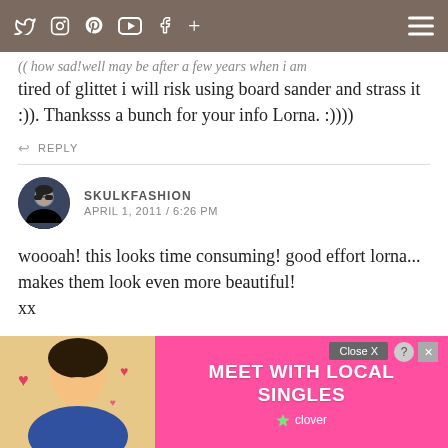Social media icons navigation bar
(( how sad!well may be after a few years when i am tired of glittet i will risk using board sander and strass it :)). Thanksss a bunch for your info Lorna. :))))
↩ REPLY
SKULKFASHION
APRIL 1, 2011 / 6:26 PM
woooah! this looks time consuming! good effort lorna... makes them look even more beautiful!
xx
↩ REPLY
LORNA
Than...
[Figure (screenshot): Advertisement overlay: MEET WITH LOCAL SINGLES - Clover app ad with pink background and photo of woman]